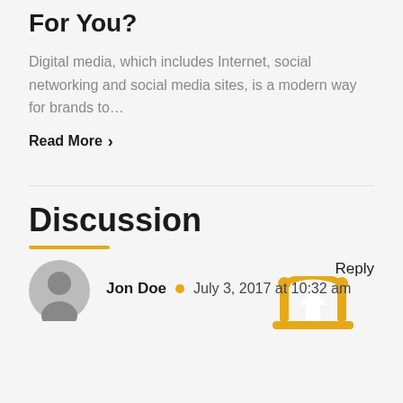For You?
Digital media, which includes Internet, social networking and social media sites, is a modern way for brands to…
Read More ›
Discussion
Reply
Jon Doe  •  July 3, 2017 at 10:32 am